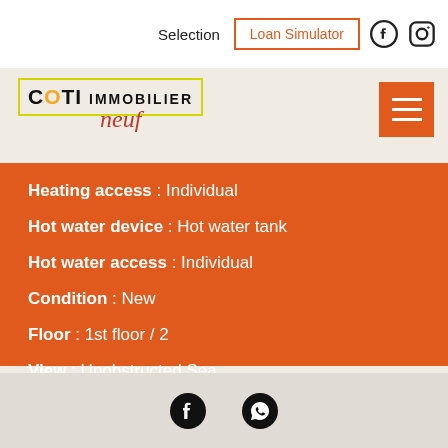Selection | Loan Simulator
[Figure (logo): COTI IMMOBILIER Neuf logo with yellow border box]
Heating access : Individual
Hot water device : Hot water tank
Hot water access : Individual
Condition : New
Floor : 1st floor / 2
View : Unobstructed Sea
Facebook | WhatsApp